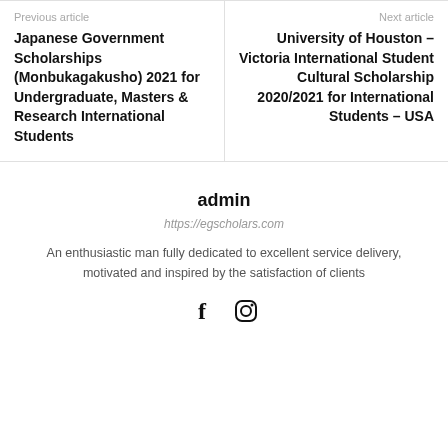Previous article
Japanese Government Scholarships (Monbukagakusho) 2021 for Undergraduate, Masters & Research International Students
Next article
University of Houston – Victoria International Student Cultural Scholarship 2020/2021 for International Students – USA
admin
https://egscholars.com
An enthusiastic man fully dedicated to excellent service delivery, motivated and inspired by the satisfaction of clients
[Figure (other): Social media icons: Facebook and Instagram]